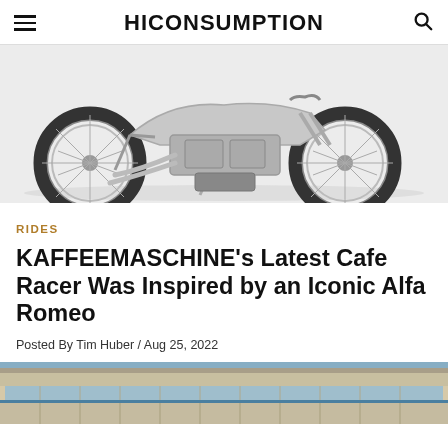HICONSUMPTION
[Figure (photo): Close-up photo of a custom cafe racer motorcycle with chrome spoked wheels and exposed engine, silver/chrome finish, white background]
RIDES
KAFFEEMASCHINE's Latest Cafe Racer Was Inspired by an Iconic Alfa Romeo
Posted By Tim Huber / Aug 25, 2022
[Figure (photo): Bottom portion of photo showing a racing circuit grandstand building with blue and beige colors]